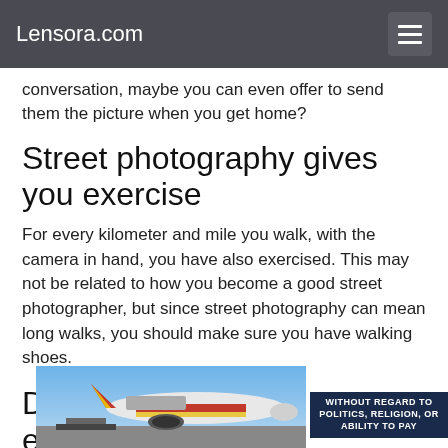Lensora.com
conversation, maybe you can even offer to send them the picture when you get home?
Street photography gives you exercise
For every kilometer and mile you walk, with the camera in hand, you have also exercised. This may not be related to how you become a good street photographer, but since street photography can mean long walks, you should make sure you have walking shoes.
Do not let (lack of) equipment stop you
[Figure (photo): Cargo airplane being loaded at an airport, with red/yellow livery, alongside an advertisement banner reading WITHOUT REGARD TO POLITICS, RELIGION, OR ABILITY TO PAY]